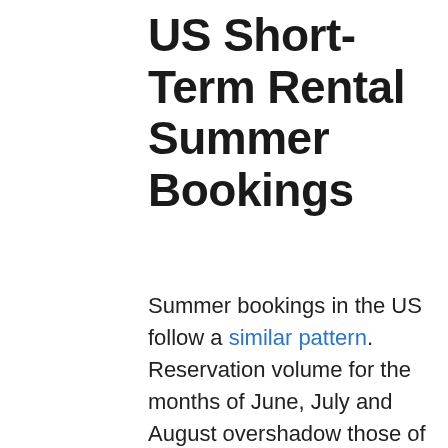US Short-Term Rental Summer Bookings
Summer bookings in the US follow a similar pattern. Reservation volume for the months of June, July and August overshadow those of last summer by a whopping 400%, and those of the pre-COVID 2019 summer by 50%. This tells us that people are not just ready to get back to travel-as-usual, but are craving a change of scenery more than...